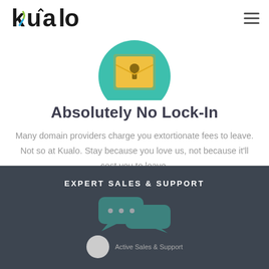Kualo
[Figure (illustration): Padlock icon with teal circular background and yellow envelope/lock body]
Absolutely No Lock-In
Many domain providers charge you extortionate fees to leave. Not so at Kualo. Stay because you love us, not because it'll cost you to leave.
EXPERT SALES & SUPPORT
[Figure (illustration): Chat/support icon in teal color, partially visible]